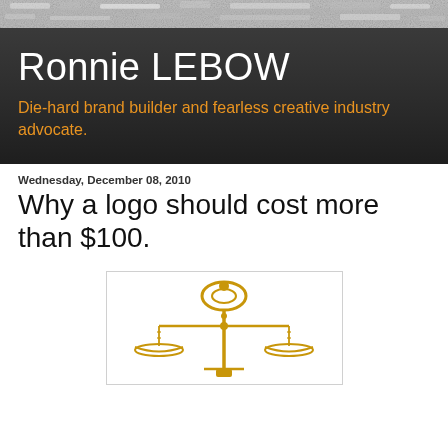[Figure (illustration): Textured grunge banner at the top of the page, gray and white speckled texture]
Ronnie LEBOW
Die-hard brand builder and fearless creative industry advocate.
Wednesday, December 08, 2010
Why a logo should cost more than $100.
[Figure (photo): Gold/brass scales of justice (balance scale) on white background inside a bordered box]